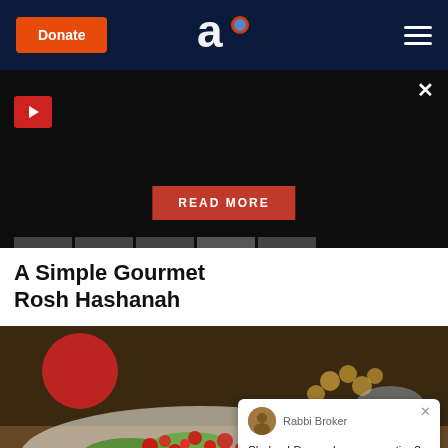Donate | Aish.com logo | hamburger menu
[Figure (screenshot): Dark video/ad banner with play button in top-left corner, READ MORE button in center, and tab navigation at the bottom. Close (×) button in top-right.]
A Simple Gourmet Rosh Hashanah
[Figure (photo): Close-up photo of a colorful salad dish with red pomegranate seeds, green leaves, avocado slices on a plate, with a red apple and bowl of nuts in the background. A chat widget is overlaid on the bottom-right showing Rabbi Broker with message: Shalom! Do you have a question? I'm online now. Ask me here!]